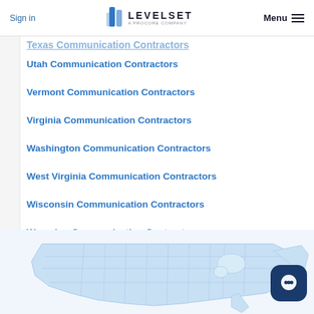Sign in | LEVELSET A PROCORE COMPANY | Menu
Texas Communication Contractors (partial)
Utah Communication Contractors
Vermont Communication Contractors
Virginia Communication Contractors
Washington Communication Contractors
West Virginia Communication Contractors
Wisconsin Communication Contractors
Wyoming Communication Contractors
[Figure (map): Light blue outline map of the contiguous United States with state borders]